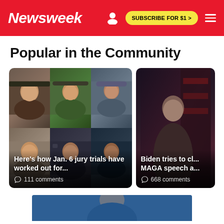Newsweek | SUBSCRIBE FOR $1 >
Popular in the Community
[Figure (photo): Article card with photo collage of Jan. 6 defendants, headline: Here's how Jan. 6 jury trials have worked out for..., 111 comments]
[Figure (photo): Article card with dark photo, headline: Biden tries to cl... MAGA speech a..., 668 comments]
[Figure (photo): Partial bottom image strip showing a person in blue background]